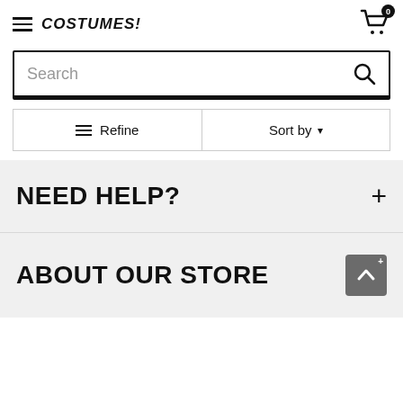COSTUMES! (logo) with hamburger menu and cart icon showing 0 items
[Figure (screenshot): Search bar with placeholder text 'Search' and magnifying glass icon]
[Figure (screenshot): Filter row with Refine button (three lines icon) and Sort by dropdown]
NEED HELP?
ABOUT OUR STORE